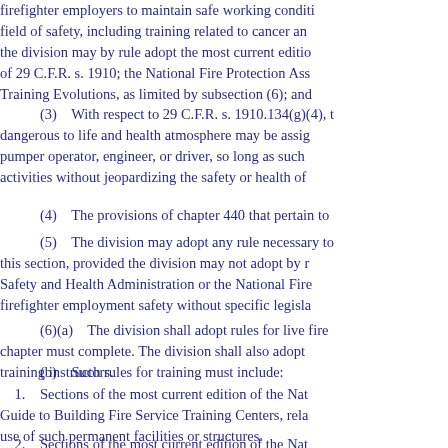firefighter employers to maintain safe working conditions in the field of safety, including training related to cancer and the division may by rule adopt the most current edition of 29 C.F.R. s. 1910; the National Fire Protection Association Training Evolutions, as limited by subsection (6); and
(3)    With respect to 29 C.F.R. s. 1910.134(g)(4), dangerous to life and health atmosphere may be assigned as pumper operator, engineer, or driver, so long as such activities without jeopardizing the safety or health of
(4)    The provisions of chapter 440 that pertain to
(5)    The division may adopt any rule necessary to this section, provided the division may not adopt by r Safety and Health Administration or the National Fire firefighter employment safety without specific legisla
(6)(a)    The division shall adopt rules for live fire chapter must complete. The division shall also adopt training instructors.
(b)    Such rules for training must include:
1.    Sections of the most current edition of the National Guide to Building Fire Service Training Centers, relating to use of such permanent facilities or structures.
2.    Sections of the most current edition of the Nat